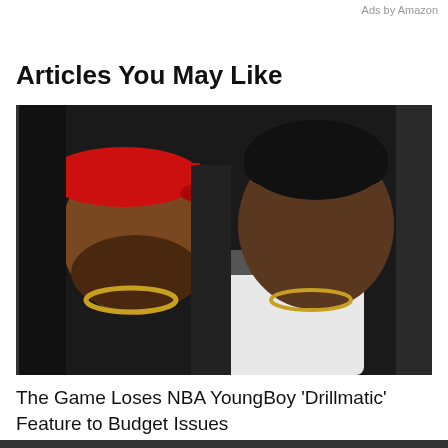Ads by Amazon
Articles You May Like
[Figure (photo): Two men posing together — one on the left wearing a red cap with beard and gold chain (The Game), one on the right younger with short hair and gold chain (NBA YoungBoy)]
The Game Loses NBA YoungBoy ‘Drillmatic’ Feature to Budget Issues